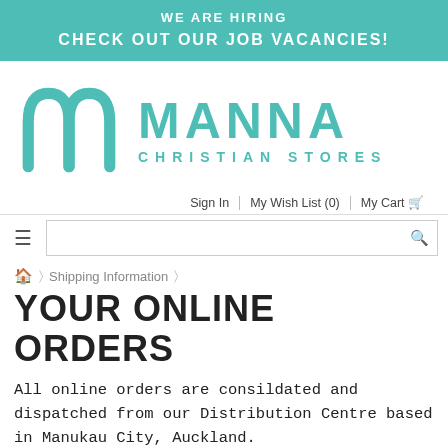WE ARE HIRING
CHECK OUT OUR JOB VACANCIES!
[Figure (logo): Manna Christian Stores logo with teal M icon and MANNA CHRISTIAN STORES text]
Sign In | My Wish List (0) | My Cart
hamburger menu and search bar
🏠 > Shipping Information >
YOUR ONLINE ORDERS
All online orders are consildated and dispatched from our Distribution Centre based in Manukau City, Auckland.